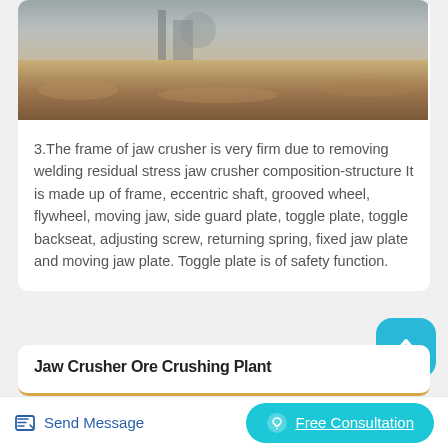[Figure (photo): Partial photo of a jaw crusher installation site showing sandy/earthen terrain with machinery in the background]
3.The frame of jaw crusher is very firm due to removing welding residual stress jaw crusher composition-structure It is made up of frame, eccentric shaft, grooved wheel, flywheel, moving jaw, side guard plate, toggle plate, toggle backseat, adjusting screw, returning spring, fixed jaw plate and moving jaw plate. Toggle plate is of safety function.
Jaw Crusher Ore Crushing Plant